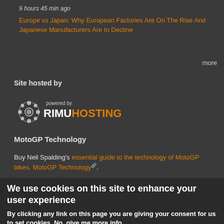9 hours 45 min ago
Europe vs Japan: Why European Factories Are On The Rise And Japanese Manufacturers Are In Decline
more
Site hosted by
[Figure (logo): Powered by RIMUHOSTING logo with decorative icon on dark background]
MotoGP Technology
Buy Neil Spalding's essential guide to the technology of MotoGP bikes. MotoGP Technology.
We use cookies on this site to enhance your user experience
By clicking any link on this page you are giving your consent for us to set cookies. No, give me more info
OK, I agree